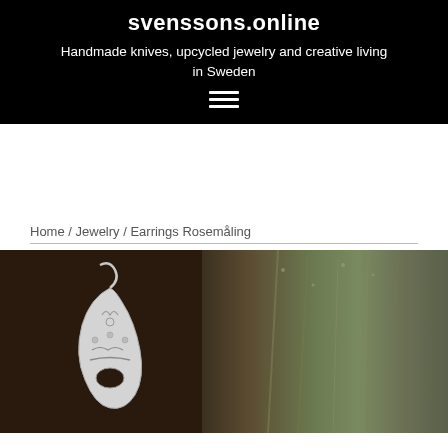svenssons.online
Handmade knives, upcycled jewelry and creative living in Sweden
[Figure (other): Hamburger menu icon with three horizontal white lines on black background]
Home / Jewelry / Earrings Rosemåling
[Figure (photo): Product photo showing silver decorative earrings with Rosemåling folk art pattern, hanging against a dark rustic wooden background with dried plants visible on the right side]